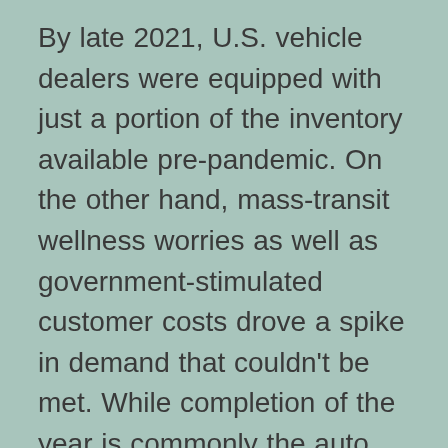By late 2021, U.S. vehicle dealers were equipped with just a portion of the inventory available pre-pandemic. On the other hand, mass-transit wellness worries as well as government-stimulated customer costs drove a spike in demand that couldn't be met. While completion of the year is commonly the auto sector's height selling period, eager consumers found it almost impossible to purchase a new cars and truck as 2021 drew to a close. In the end, automobile makers marketed less than 15 million brand-new automobiles in 2021, well below the 17 million